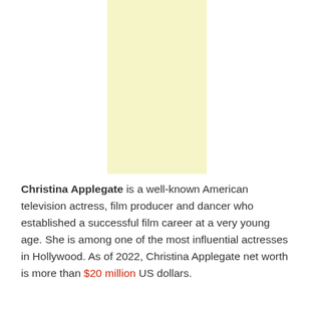[Figure (photo): A light yellow/cream colored rectangular placeholder image, centered horizontally on the page.]
Christina Applegate is a well-known American television actress, film producer and dancer who established a successful film career at a very young age. She is among one of the most influential actresses in Hollywood. As of 2022, Christina Applegate net worth is more than $20 million US dollars.